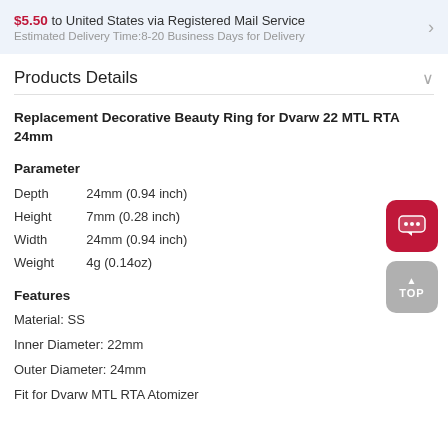$5.50 to United States via Registered Mail Service
Estimated Delivery Time:8-20 Business Days for Delivery
Products Details
Replacement Decorative Beauty Ring for Dvarw 22 MTL RTA 24mm
Parameter
Depth    24mm (0.94 inch)
Height    7mm (0.28 inch)
Width    24mm (0.94 inch)
Weight    4g (0.14oz)
Features
Material: SS
Inner Diameter: 22mm
Outer Diameter: 24mm
Fit for Dvarw MTL RTA Atomizer